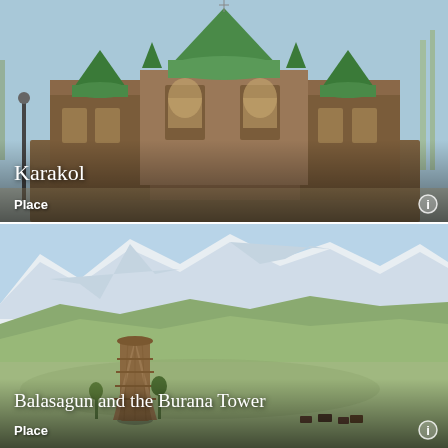[Figure (photo): Karakol Holy Trinity Cathedral, a large wooden Russian Orthodox church with distinctive green dome roofs and ornate carved wooden facade, surrounded by bare trees in winter]
Karakol
Place
[Figure (photo): Balasagun and the Burana Tower - a tall cylindrical ancient minaret standing in a green valley with dramatic snow-capped mountains in the background, grazing animals visible in foreground]
Balasagun and the Burana Tower
Place